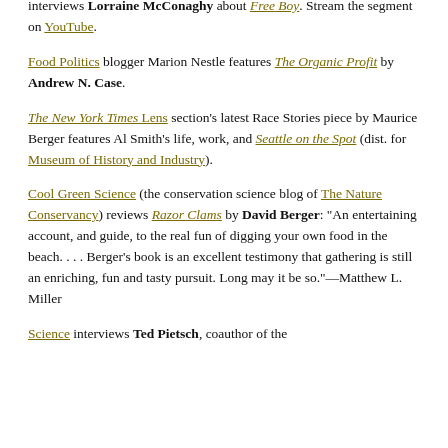Panorama: Portraits (ETV) Now There Were Two interviews Lorraine McConaghy about Free Boy. Stream the segment on YouTube.
Food Politics blogger Marion Nestle features The Organic Profit by Andrew N. Case.
The New York Times Lens section's latest Race Stories piece by Maurice Berger features Al Smith's life, work, and Seattle on the Spot (dist. for Museum of History and Industry).
Cool Green Science (the conservation science blog of The Nature Conservancy) reviews Razor Clams by David Berger: "An entertaining account, and guide, to the real fun of digging your own food in the beach. . . . Berger's book is an excellent testimony that gathering is still an enriching, fun and tasty pursuit. Long may it be so."—Matthew L. Miller
Science interviews Ted Pietsch, coauthor of the forthcoming Fishes of the Salish Sea, about first encounters...